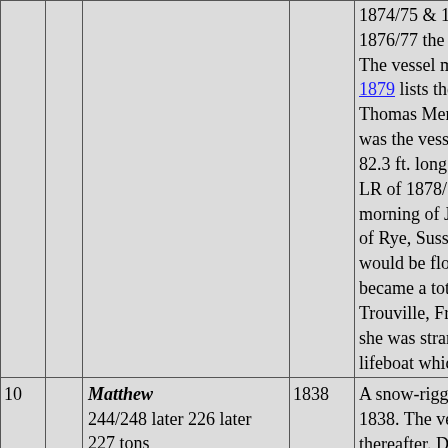| # |  | Vessel | Year | Description |
| --- | --- | --- | --- | --- |
|  |  |  |  | 1874/75 & 1875... 1876/77 the vessel... The vessel must... 1879 lists the Wh... Thomas Mennell... was the vessel's c... 82.3 ft. long. Sign... LR of 1878/79 als... morning of Jan 14... of Rye, Sussex).... would be floated... became a total wr... Trouville, France,... she was stranded... lifeboat which too... |
| 10 |  | Matthew 244/248 later 226 later 227 tons

2889 | 1838 | A snow-rigged ve... 1838. The vessel... thereafter. During... service from Sun... Liverpool to Mar... Directory of 1848... 248 ton brig. Tur... both of Sunderl... |